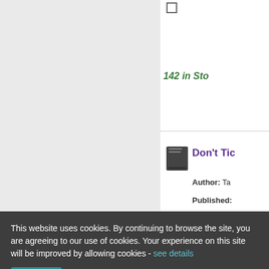142 in Stock
[Figure (screenshot): Book listing item with title starting 'Don't Tic', author name starting 'Ta', Published field, checkbox, star rating (approximately 3.5 stars), and stock count '45 in Stock']
Select all  Add to basket
This website uses cookies. By continuing to browse the site, you are agreeing to our use of cookies. Your experience on this site will be improved by allowing cookies - see details
Close